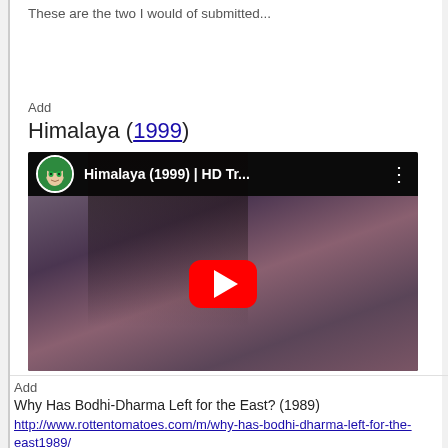These are the two I would of submitted...
Add
Himalaya (1999)
[Figure (screenshot): YouTube video embed showing Himalaya (1999) HD Trailer thumbnail with a person with long dark hair, a YouTube play button overlay, and a channel avatar of an anime-style character with green hair. Title bar reads: Himalaya (1999) | HD Tr...]
Add
Why Has Bodhi-Dharma Left for the East? (1989)
http://www.rottentomatoes.com/m/why-has-bodhi-dharma-left-for-the-east1989/